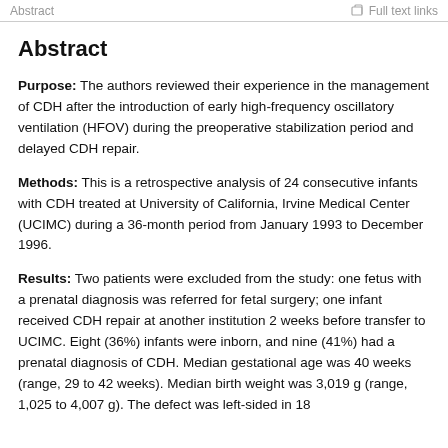Abstract | Full text links
Abstract
Purpose: The authors reviewed their experience in the management of CDH after the introduction of early high-frequency oscillatory ventilation (HFOV) during the preoperative stabilization period and delayed CDH repair.
Methods: This is a retrospective analysis of 24 consecutive infants with CDH treated at University of California, Irvine Medical Center (UCIMC) during a 36-month period from January 1993 to December 1996.
Results: Two patients were excluded from the study: one fetus with a prenatal diagnosis was referred for fetal surgery; one infant received CDH repair at another institution 2 weeks before transfer to UCIMC. Eight (36%) infants were inborn, and nine (41%) had a prenatal diagnosis of CDH. Median gestational age was 40 weeks (range, 29 to 42 weeks). Median birth weight was 3,019 g (range, 1,025 to 4,007 g). The defect was left-sided in 18